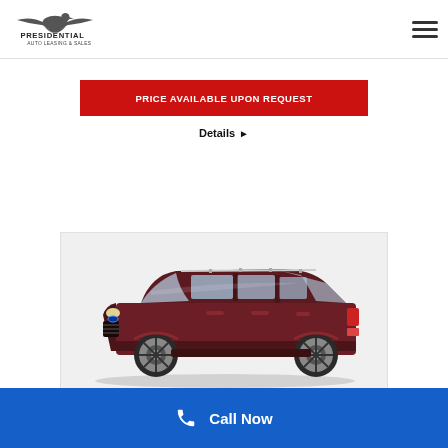Presidential Auto Leasing & Sales
PRICE AVAILABLE UPON REQUEST
Details ▶
[Figure (photo): Dark red/maroon Ford Escape SUV shown in profile view against white background]
Call Now